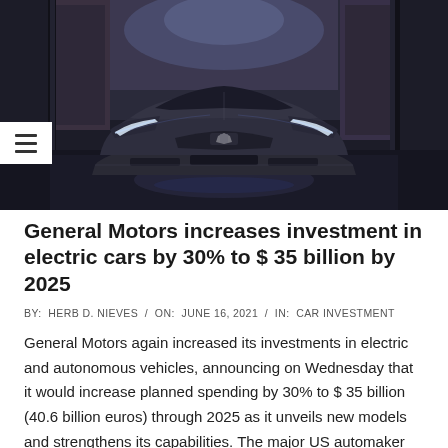[Figure (photo): Front view of a sleek dark Cadillac electric concept car in a dramatic showroom with moody lighting, reflective floor, and open garage doors in the background]
General Motors increases investment in electric cars by 30% to $ 35 billion by 2025
BY:  HERB D. NIEVES  /  ON:  JUNE 16, 2021  /  IN:  CAR INVESTMENT
General Motors again increased its investments in electric and autonomous vehicles, announcing on Wednesday that it would increase planned spending by 30% to $ 35 billion (40.6 billion euros) through 2025 as it unveils new models and strengthens its capabilities. The major US automaker cited strong consumer reception of its